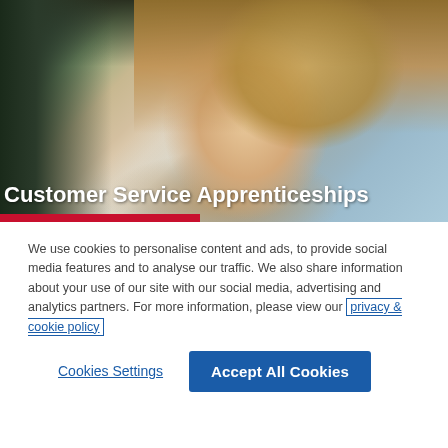[Figure (photo): Young woman smiling, wearing a headset, sitting in front of a monitor in a customer service environment. Background is blurred with warm and cool tones.]
Customer Service Apprenticeships
We use cookies to personalise content and ads, to provide social media features and to analyse our traffic. We also share information about your use of our site with our social media, advertising and analytics partners. For more information, please view our privacy & cookie policy
Cookies Settings
Accept All Cookies